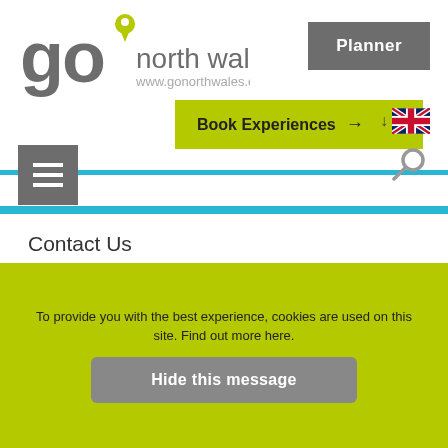[Figure (logo): Go North Wales logo with location pin, text 'north wales' and URL www.gonorthwales.co.uk]
[Figure (screenshot): Planner button - grey rectangle with white bold text 'Planner']
[Figure (screenshot): Book Experiences button - yellow-green rectangle with bold text 'Book Experiences' and arrow]
[Figure (screenshot): UK flag with download arrow for language selector]
[Figure (screenshot): Hamburger menu icon - grey square with three white horizontal lines]
[Figure (screenshot): Search/magnifying glass icon]
Contact Us
Working with Us
FAQ's
To provide you with the best experience, cookies are used on this site. Find out more here.
[Figure (screenshot): Hide this message button - grey rounded rectangle with white bold text]